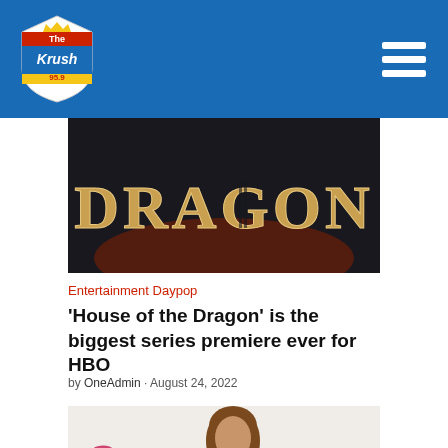The Krush 95.9
[Figure (photo): House of the Dragon signage with golden dragon letters on dark background]
Entertainment Daypop
'House of the Dragon' is the biggest series premiere ever for HBO
by OneAdmin · August 24, 2022
[Figure (photo): Woman standing in front of Elton John Foundation backdrop banner]